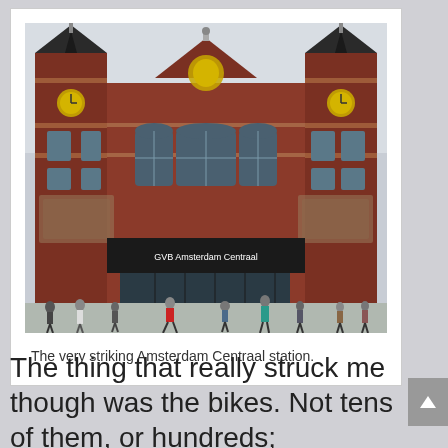[Figure (photo): Photograph of Amsterdam Centraal railway station facade, a grand red-brick building with ornate Gothic and Renaissance architecture, multiple towers, decorative stonework, and a large plaza in front with many pedestrians]
The very striking Amsterdam Centraal station.
The thing that really struck me though was the bikes. Not tens of them, or hundreds; THOUSANDS! Everywhere in